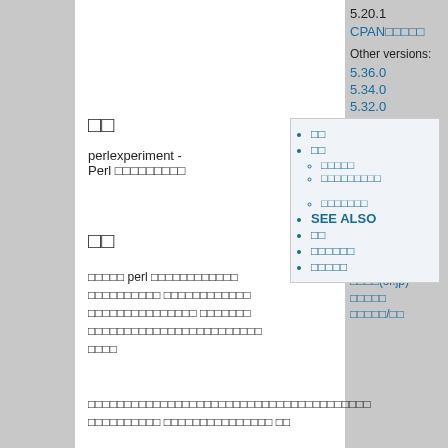5.20.1
CPAN□□□□□
Other versions:
5.36.0
5.34.0
5.32.0
5.30.0
5.28.0
5.26.1
5.24.1
5.22.1
5.18.1
5.16.1
5.36.0  diff
Source
□□□□(sf.jp)
□□□□□
□□□□□/□□
□□
perlexperiment - Perl □□□□□□□□□
□□
□□□□□ perl □□□□□□□□□□□□ □□□□□□□□□□ □□□□□□□□□□□□ □□□□□□□□□□□□□□□□ □□□□□□□ □□□□□□□□□□□□□□□□□□□□□□□□ □□□□
□□□□□□□□□□□□□□□□□□□□□□□□□□□□□□□□□□□□□□□ □□□□□□□□□□ □□□□□□□□□□□□□□□ □□
| □□ | □□ | □□□□□ | □□□□□□□□□ | □□□□□□□ | SEE ALSO | □□ | □□□□□□ | □□□□□ |
| --- | --- | --- | --- | --- | --- | --- | --- | --- |